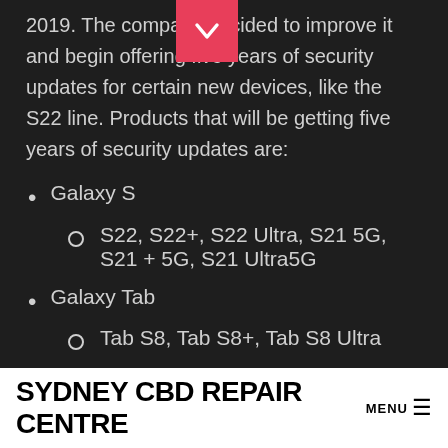2019. The company decided to improve it and begin offering five years of security updates for certain new devices, like the S22 line. Products that will be getting five years of security updates are:
Galaxy S
S22, S22+, S22 Ultra, S21 5G, S21 + 5G, S21 Ultra5G
Galaxy Tab
Tab S8, Tab S8+, Tab S8 Ultra
Galaxy Z
Z Flip 3, Z Fold 3
SYDNEY CBD REPAIR CENTRE MENU ≡